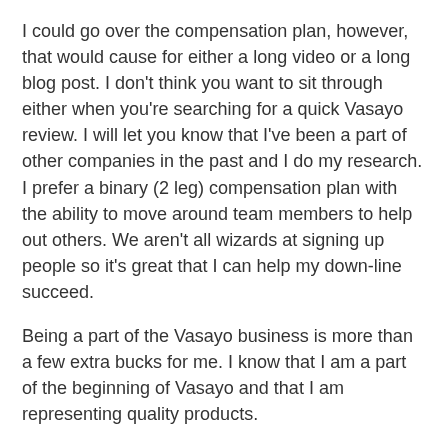I could go over the compensation plan, however, that would cause for either a long video or a long blog post. I don't think you want to sit through either when you're searching for a quick Vasayo review. I will let you know that I've been a part of other companies in the past and I do my research. I prefer a binary (2 leg) compensation plan with the ability to move around team members to help out others. We aren't all wizards at signing up people so it's great that I can help my down-line succeed.
Being a part of the Vasayo business is more than a few extra bucks for me. I know that I am a part of the beginning of Vasayo and that I am representing quality products.
Vasayo is still in the pre-launch phase. We are excited about all that is to come. Be sure to check out my other Vasayo posts for updates and videos!
There are 8 ways to earn an income with Vasayo. Your success is determined on the amount of work you choose to implement. Our team is committed to helping anyone